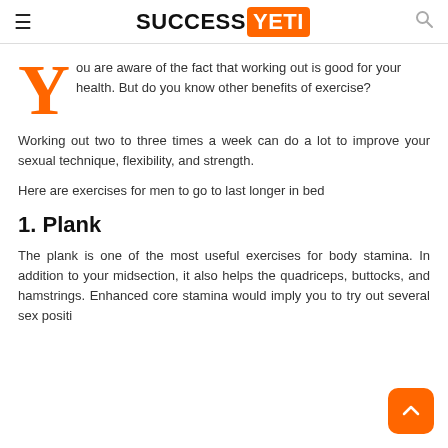SUCCESS YETI
You are aware of the fact that working out is good for your health. But do you know other benefits of exercise?
Working out two to three times a week can do a lot to improve your sexual technique, flexibility, and strength.
Here are exercises for men to go to last longer in bed
1. Plank
The plank is one of the most useful exercises for body stamina. In addition to your midsection, it also helps the quadriceps, buttocks, and hamstrings. Enhanced core stamina would imply you to try out several sex positi